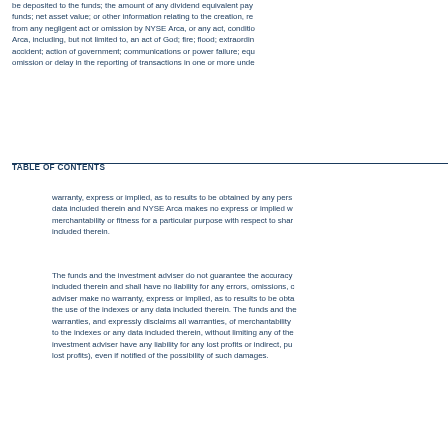be deposited to the funds; the amount of any dividend equivalent pay funds; net asset value; or other information relating to the creation, re from any negligent act or omission by NYSE Arca, or any act, conditio Arca, including, but not limited to, an act of God; fire; flood; extraordin accident; action of government; communications or power failure; equ omission or delay in the reporting of transactions in one or more unde
TABLE OF CONTENTS
warranty, express or implied, as to results to be obtained by any pers data included therein and NYSE Arca makes no express or implied w merchantability or fitness for a particular purpose with respect to shar included therein.
The funds and the investment adviser do not guarantee the accuracy included therein and shall have no liability for any errors, omissions, c adviser make no warranty, express or implied, as to results to be obta the use of the indexes or any data included therein. The funds and the warranties, and expressly disclaims all warranties, of merchantability to the indexes or any data included therein, without limiting any of the investment adviser have any liability for any lost profits or indirect, pu lost profits), even if notified of the possibility of such damages.